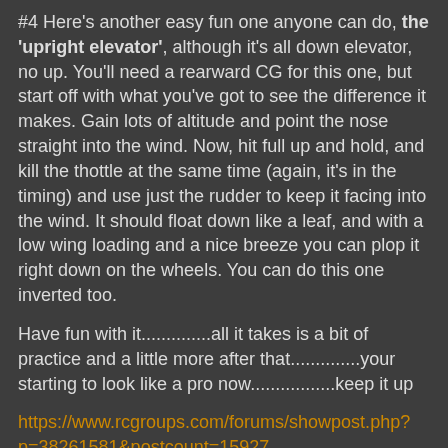#4 Here's another easy fun one anyone can do, the 'upright elevator', although it's all down elevator, no up. You'll need a rearward CG for this one, but start off with what you've got to see the difference it makes. Gain lots of altitude and point the nose straight into the wind. Now, hit full up and hold, and kill the thottle at the same time (again, it's in the timing) and use just the rudder to keep it facing into the wind. It should float down like a leaf, and with a low wing loading and a nice breeze you can plop it right down on the wheels. You can do this one inverted too.
Have fun with it..............all it takes is a bit of practice and a little more after that..............your starting to look like a pro now.................keep it up
https://www.rcgroups.com/forums/showpost.php?p=38261581&postcount=15927
Most aerobatics it will do
And referring to how it flew,
If someone shouts, "a NutBall, WOW"